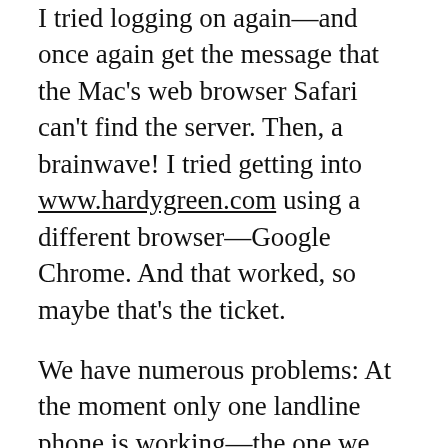I tried logging on again—and once again get the message that the Mac's web browser Safari can't find the server. Then, a brainwave! I tried getting into www.hardygreen.com using a different browser—Google Chrome. And that worked, so maybe that's the ticket.
We have numerous problems: At the moment only one landline phone is working—the one we have plugged into the new Altice modem. Other extensions don't get a dial tone. I suspect there's a transition underway, and once Optimum has taken over the landline from Verizon, all will be ok again.
Meanwhile, Emily is having problems with medical stuff: physical therapy, mammograms, etc. Rather than going back to Manhattan for these things, she wants to take care of them out here on Long Island. But every new caregiver's office raises problems. Man (and woman) is born to trouble, as it says in the Book of Job (I think).